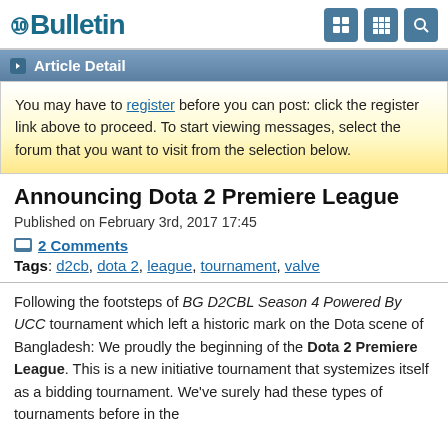vBulletin
Article Detail
You may have to register before you can post: click the register link above to proceed. To start viewing messages, select the forum that you want to visit from the selection below.
Announcing Dota 2 Premiere League
Published on February 3rd, 2017 17:45
2 Comments
Tags: d2cb, dota 2, league, tournament, valve
Following the footsteps of BG D2CBL Season 4 Powered By UCC tournament which left a historic mark on the Dota scene of Bangladesh: We proudly the beginning of the Dota 2 Premiere League. This is a new initiative tournament that systemizes itself as a bidding tournament. We've surely had these types of tournaments before in the